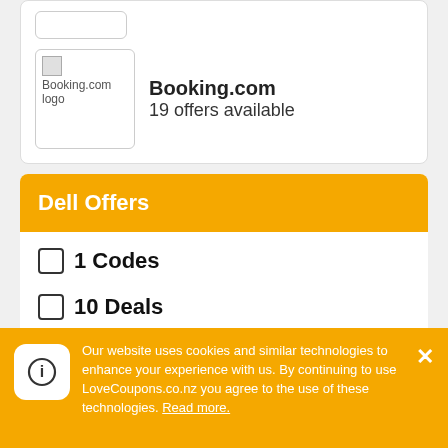[Figure (logo): Booking.com logo placeholder image]
Booking.com
19 offers available
Dell Offers
1 Codes
10 Deals
2 Sales
1 Sign Up
Our website uses cookies and similar technologies to enhance your experience with us. By continuing to use LoveCoupons.co.nz you agree to the use of these technologies. Read more.